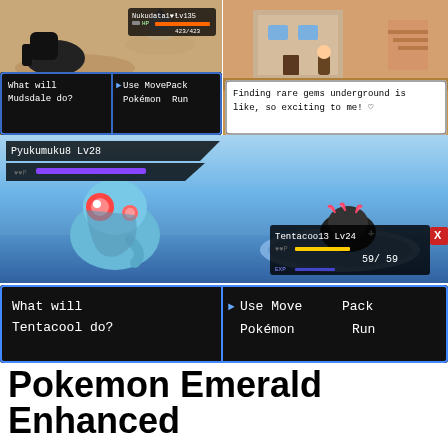[Figure (screenshot): Pokemon battle screenshot showing Mudsdale vs an opponent with HP bar showing 423/423, dialogue box saying 'What will Mudsdale do?' with options Use Move, Pack, Pokémon, Run]
[Figure (screenshot): Pokemon overhead map screenshot showing a building area with NPC speech bubble: 'Finding rare gems underground is like, so exciting to me!']
[Figure (screenshot): Large Pokemon battle screenshot showing Pyukumuku Lv28 vs Tentacool13 Lv24 with HP 59/59, dialogue box saying 'What will Tentacool do?' with options Use Move, Pack, Pokémon, Run]
Pokemon Emerald Enhanced